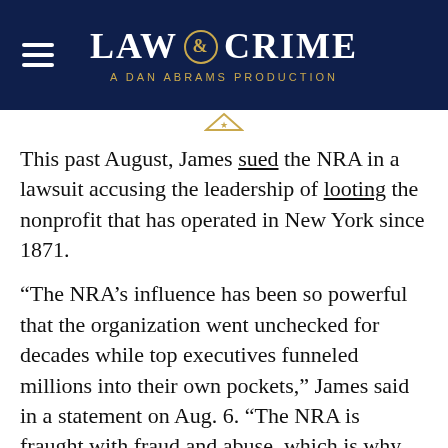LAW & CRIME — A DAN ABRAMS PRODUCTION
This past August, James sued the NRA in a lawsuit accusing the leadership of looting the nonprofit that has operated in New York since 1871.
“The NRA’s influence has been so powerful that the organization went unchecked for decades while top executives funneled millions into their own pockets,” James said in a statement on Aug. 6. “The NRA is fraught with fraud and abuse, which is why, today, we seek to dissolve the NRA, because no organization is above the law.”
James previously reached a $2 million settlement in